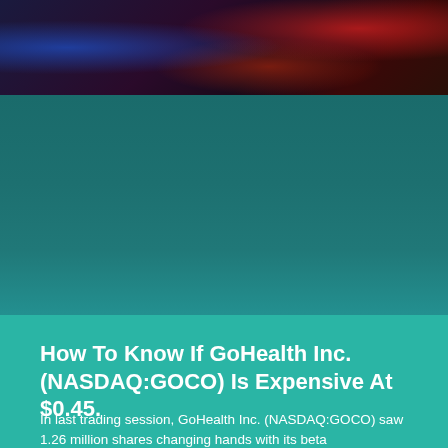[Figure (photo): Dark financial stock market trading screen background with blue and red neon lights]
How To Know If GoHealth Inc. (NASDAQ:GOCO) Is Expensive At $0.45.
In last trading session, GoHealth Inc. (NASDAQ:GOCO) saw 1.26 million shares changing hands with its beta